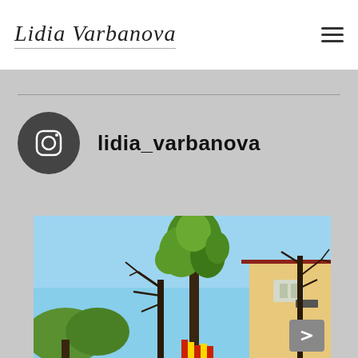Lidia Varbanova
lidia_varbanova
[Figure (photo): Outdoor photo showing tall green trees against a clear blue sky, with a yellow building visible on the right side with a red roof, and colorful flags or fabric in the lower foreground.]